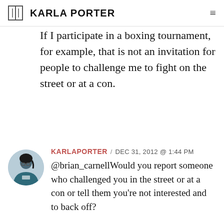KARLA PORTER
If I participate in a boxing tournament, for example, that is not an invitation for people to challenge me to fight on the street or at a con.
KARLAPORTER / DEC 31, 2012 @ 1:44 PM
@brian_carnellWould you report someone who challenged you in the street or at a con or tell them you're not interested and to back off?